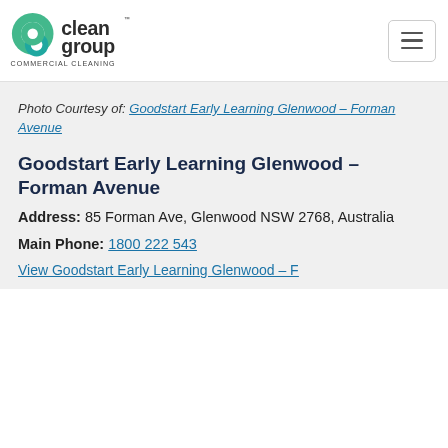[Figure (logo): Clean Group Commercial Cleaning logo with green/teal circular icon and dark text]
Photo Courtesy of: Goodstart Early Learning Glenwood – Forman Avenue
Goodstart Early Learning Glenwood – Forman Avenue
Address: 85 Forman Ave, Glenwood NSW 2768, Australia
Main Phone: 1800 222 543
View Goodstart Early Learning Glenwood – F…